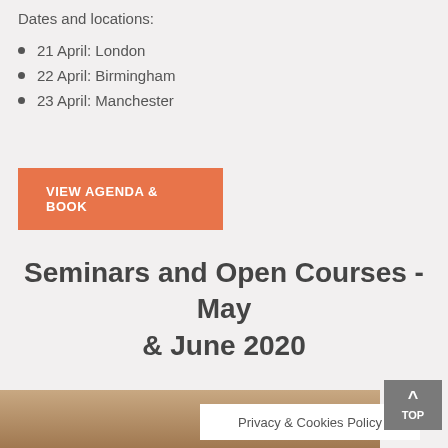Dates and locations:
21 April: London
22 April: Birmingham
23 April: Manchester
VIEW AGENDA & BOOK
Seminars and Open Courses - May & June 2020
[Figure (photo): Partial photo strip visible at the bottom of the page showing warm-toned background]
Privacy & Cookies Policy
TOP